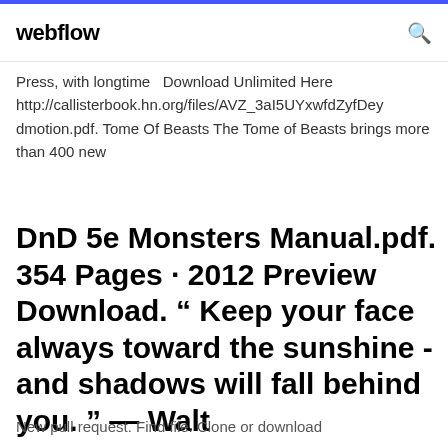webflow
Press, with longtime  Download Unlimited Here http://callisterbook.hn.org/files/AVZ_3aI5UYxwfdZyfDey dmotion.pdf. Tome Of Beasts The Tome of Beasts brings more than 400 new
DnD 5e Monsters Manual.pdf. 354 Pages · 2012 Preview Download. “ Keep your face always toward the sunshine - and shadows will fall behind you. ” — Walt
New pull request. Find file. Clone or download